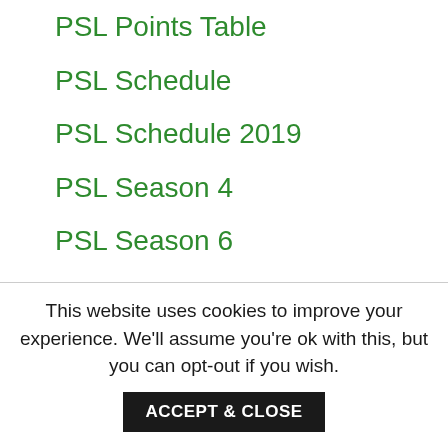PSL Points Table
PSL Schedule
PSL Schedule 2019
PSL Season 4
PSL Season 6
PSL Squad 2019
PTV Sports Live
Quetta Gladiators
T20 World Cup 2021 Schedule
Uncategorized
This website uses cookies to improve your experience. We'll assume you're ok with this, but you can opt-out if you wish.
ACCEPT & CLOSE